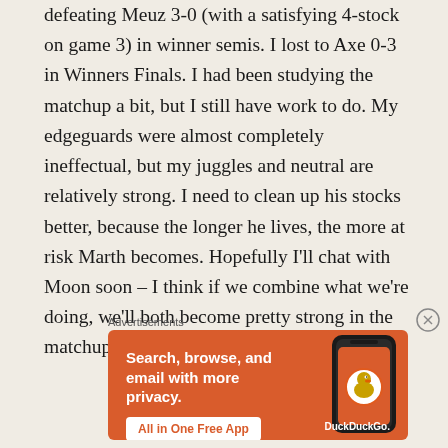defeating Meuz 3-0 (with a satisfying 4-stock on game 3) in winner semis. I lost to Axe 0-3 in Winners Finals. I had been studying the matchup a bit, but I still have work to do. My edgeguards were almost completely ineffectual, but my juggles and neutral are relatively strong. I need to clean up his stocks better, because the longer he lives, the more at risk Marth becomes. Hopefully I'll chat with Moon soon – I think if we combine what we're doing, we'll both become pretty strong in the matchup.
Advertisements
[Figure (illustration): DuckDuckGo advertisement banner with orange background. Text reads 'Search, browse, and email with more privacy. All in One Free App'. Shows a smartphone with DuckDuckGo logo and app icon.]